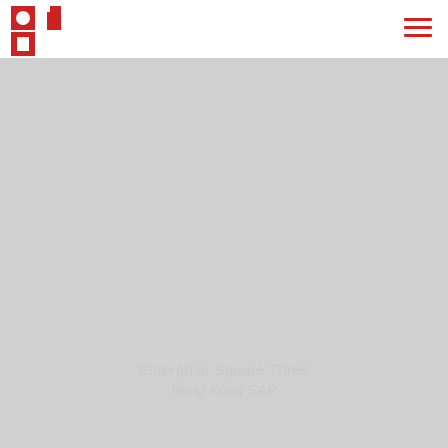[Figure (logo): Red architectural logo with P and I shapes on white header bar]
[Figure (photo): Large grey background area representing a property photo placeholder for Enterprise Square Three, Hong Kong SAR]
Enterprise Square Three
Hong Kong SAR